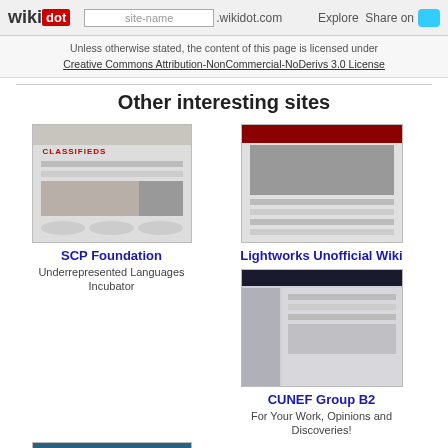wikidot | site-name .wikidot.com | Explore | Share on
Unless otherwise stated, the content of this page is licensed under Creative Commons Attribution-NonCommercial-NoDerivs 3.0 License
Other interesting sites
[Figure (screenshot): Screenshot thumbnail of SCP Foundation website]
SCP Foundation
Underrepresented Languages Incubator
[Figure (screenshot): Screenshot thumbnail of Lightworks Unofficial Wiki website]
Lightworks Unofficial Wiki
[Figure (screenshot): Screenshot thumbnail of CUNEF Group B2 website]
CUNEF Group B2
For Your Work, Opinions and Discoveries!
[Figure (screenshot): Screenshot thumbnail of Albums-template website]
Albums-template
Your pictures